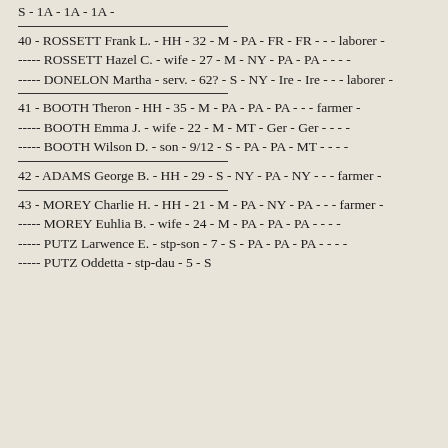S - 1A - 1A - 1A -
40 - ROSSETT Frank L. - HH - 32 - M - PA - FR - FR - - - laborer -
----- ROSSETT Hazel C. - wife - 27 - M - NY - PA - PA - - - -
----- DONELON Martha - serv. - 62? - S - NY - Ire - Ire - - - laborer -
41 - BOOTH Theron - HH - 35 - M - PA - PA - PA - - - farmer -
----- BOOTH Emma J. - wife - 22 - M - MT - Ger - Ger - - - -
----- BOOTH Wilson D. - son - 9/12 - S - PA - PA - MT - - - -
42 - ADAMS George B. - HH - 29 - S - NY - PA - NY - - - farmer -
43 - MOREY Charlie H. - HH - 21 - M - PA - NY - PA - - - farmer -
----- MOREY Euhlia B. - wife - 24 - M - PA - PA - PA - - - -
----- PUTZ Larwence E. - stp-son - 7 - S - PA - PA - PA - - - -
----- PUTZ Oddetta - stp-dau - 5 - S